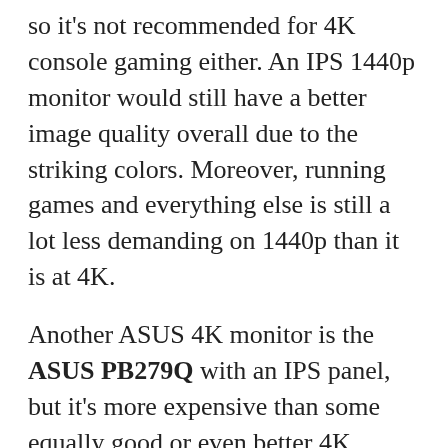so it's not recommended for 4K console gaming either. An IPS 1440p monitor would still have a better image quality overall due to the striking colors. Moreover, running games and everything else is still a lot less demanding on 1440p than it is at 4K.
Another ASUS 4K monitor is the ASUS PB279Q with an IPS panel, but it's more expensive than some equally good or even better 4K monitors out there. You can check out these 4K monitors here as well as in the link above if you're looking for a budget 4K monitor. ASUS does have some of the best 4K gaming monitors, so stay tuned for those. So, if you really want a high-quality ASUS 4K monitor worth the price, we